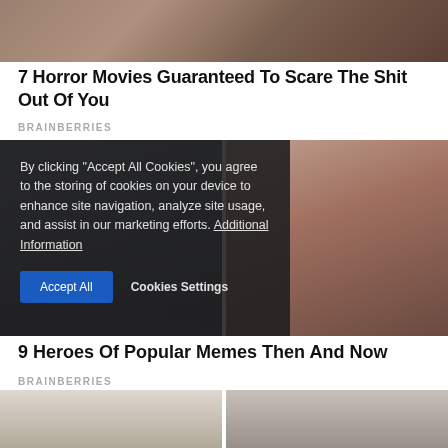[Figure (photo): Partial image at top of page showing a tattooed person with dark background]
7 Horror Movies Guaranteed To Scare The Shit Out Of You
BRAINBERRIES
[Figure (screenshot): Cookie consent banner overlay on top of two side-by-side photos. Left photo shows a person with medals and flowers. Right photo shows a young woman with braided pigtails in a pink outfit. Banner reads: By clicking 'Accept All Cookies', you agree to the storing of cookies on your device to enhance site navigation, analyze site usage, and assist in our marketing efforts. Additional Information. Buttons: Accept All, Cookies Settings]
9 Heroes Of Popular Memes Then And Now
BRAINBERRIES
[Figure (photo): Two partial images at bottom of page showing people, partially cropped]